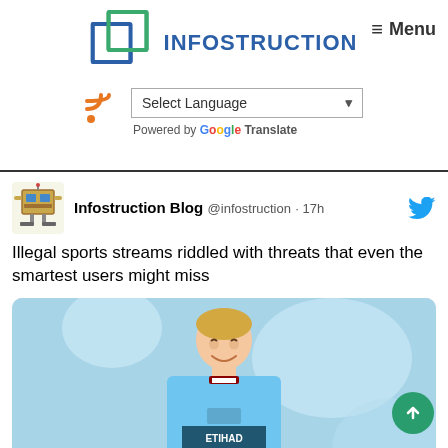[Figure (logo): Infostruction logo with overlapping square frames in blue and green, with the text INFOSTRUCTION in dark blue]
≡ Menu
[Figure (screenshot): RSS feed icon in orange and a Select Language dropdown widget with Google Translate attribution]
[Figure (infographic): Tweet from Infostruction Blog @infostruction · 17h with Twitter bird icon]
Illegal sports streams riddled with threats that even the smartest users might miss
[Figure (photo): A young man smiling, wearing a Manchester City sky-blue ETIHAD AIRWAYS jersey with a Puma logo]